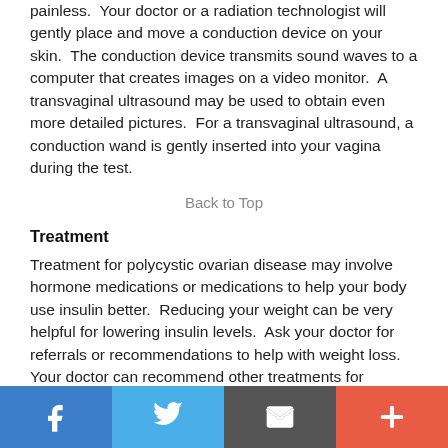painless.  Your doctor or a radiation technologist will gently place and move a conduction device on your skin.  The conduction device transmits sound waves to a computer that creates images on a video monitor.  A transvaginal ultrasound may be used to obtain even more detailed pictures.  For a transvaginal ultrasound, a conduction wand is gently inserted into your vagina during the test.
Back to Top
Treatment
Treatment for polycystic ovarian disease may involve hormone medications or medications to help your body use insulin better.  Reducing your weight can be very helpful for lowering insulin levels.  Ask your doctor for referrals or recommendations to help with weight loss.  Your doctor can recommend other treatments for symptoms that bother you, such as acne or unwanted hair growth.  A fertility specialist may use hormone medications or surgical procedures to help increase your chances of becoming pregnant.  Your blood